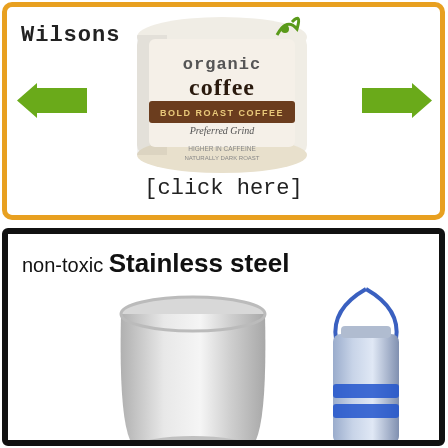[Figure (illustration): Advertisement for Wilsons Organic Coffee showing a white coffee bag with 'organic coffee BOLD ROAST COFFEE Preferred Grind' text, flanked by two green arrows pointing inward, with '[click here]' text below, inside an orange/gold rounded border]
[Figure (photo): Advertisement showing non-toxic stainless steel products with text 'non-toxic Stainless steel' and photos of a stainless steel cup and a blue-banded stainless steel travel mug with carrying strap, inside a black border]